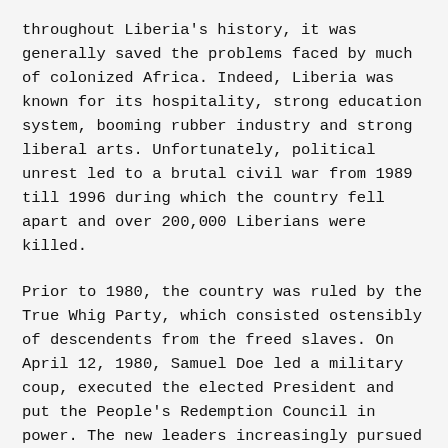throughout Liberia's history, it was generally saved the problems faced by much of colonized Africa. Indeed, Liberia was known for its hospitality, strong education system, booming rubber industry and strong liberal arts. Unfortunately, political unrest led to a brutal civil war from 1989 till 1996 during which the country fell apart and over 200,000 Liberians were killed.
Prior to 1980, the country was ruled by the True Whig Party, which consisted ostensibly of descendents from the freed slaves. On April 12, 1980, Samuel Doe led a military coup, executed the elected President and put the People's Redemption Council in power. The new leaders increasingly pursued ethnic